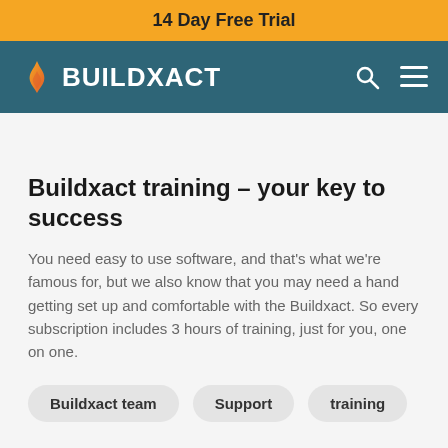14 Day Free Trial
[Figure (logo): Buildxact logo with orange flame icon and white text on teal navigation bar]
Buildxact training – your key to success
You need easy to use software, and that's what we're famous for, but we also know that you may need a hand getting set up and comfortable with the Buildxact. So every subscription includes 3 hours of training, just for you, one on one.
Buildxact team
Support
training